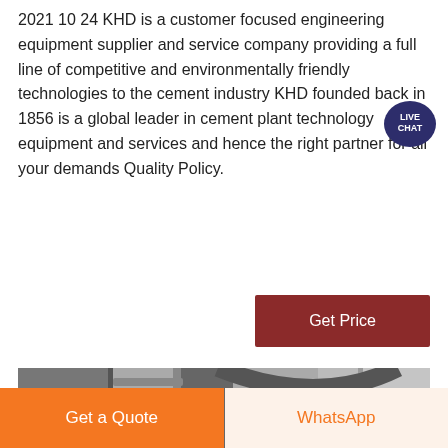2021 10 24 KHD is a customer focused engineering equipment supplier and service company providing a full line of competitive and environmentally friendly technologies to the cement industry KHD founded back in 1856 is a global leader in cement plant technology equipment and services and hence the right partner for all your demands Quality Policy.
[Figure (infographic): Live Chat speech bubble badge in dark blue/teal with white text reading LIVE CHAT]
[Figure (photo): Black and white photograph of industrial cement plant equipment showing large pipes and metal structures inside a facility]
[Figure (infographic): Get Price button - dark red/maroon rectangular button with white text]
[Figure (infographic): Bottom bar with two buttons: orange 'Get a Quote' button on left, and light beige 'WhatsApp' button with orange text on right]